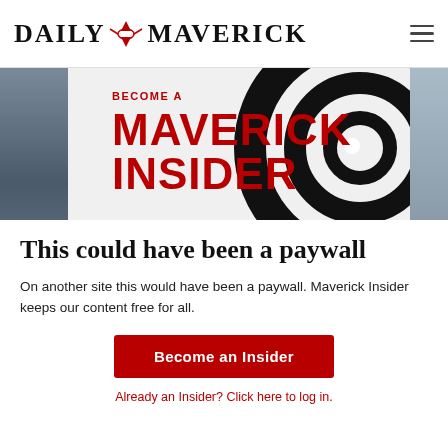DAILY MAVERICK
[Figure (logo): Daily Maverick logo with eagle icon and bold serif text]
[Figure (illustration): Maverick Insider promotional banner: 'BECOME A MAVERICK INSIDER' in bold red text on light background with large black swirl graphic on right side]
This could have been a paywall
On another site this would have been a paywall. Maverick Insider keeps our content free for all.
Become an Insider
Already an Insider? Click here to log in.